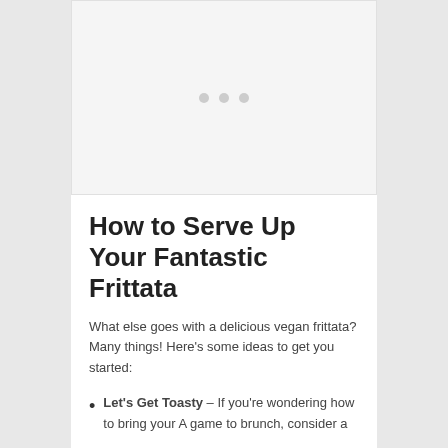[Figure (photo): Image placeholder with three gray dots indicating a loading or carousel image area]
How to Serve Up Your Fantastic Frittata
What else goes with a delicious vegan frittata? Many things! Here’s some ideas to get you started:
Let’s Get Toasty – If you’re wondering how to bring your A game to brunch, consider a